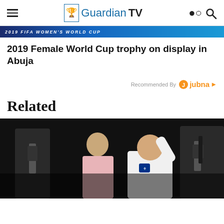Guardian TV
[Figure (photo): 2019 FIFA Women's World Cup banner strip]
2019 Female World Cup trophy on display in Abuja
Recommended By jubna
Related
[Figure (photo): A man in a white England football shirt waving, surrounded by people in suits with lanyards, against a dark background]